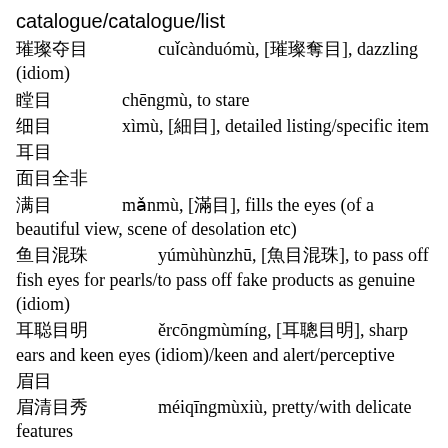catalogue/catalogue/list
璀璨夺目  cuǐcànduómù, [璀璨奪目], dazzling (idiom)
瞠目  chēngmù, to stare
细目  xìmù, [細目], detailed listing/specific item
耳目
面目全非
满目  mǎnmù, [滿目], fills the eyes (of a beautiful view, scene of desolation etc)
鱼目混珠  yúmùhùnzhū, [魚目混珠], to pass off fish eyes for pearls/to pass off fake products as genuine (idiom)
耳聪目明  ěrcōngmùmíng, [耳聰目明], sharp ears and keen eyes (idiom)/keen and alert/perceptive
眉目
眉清目秀  méiqīngmùxiù, pretty/with delicate features
目光